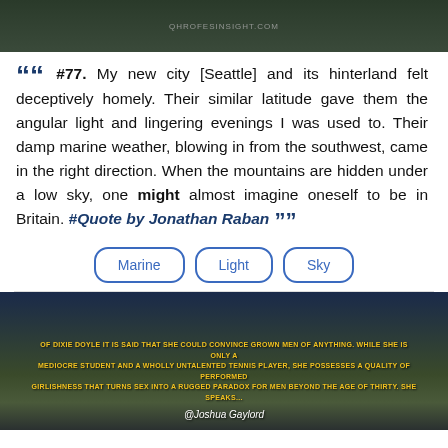[Figure (photo): Landscape/nature photo at top of page with watermark text 'QHROFESINSIGHT.COM']
““ #77. My new city [Seattle] and its hinterland felt deceptively homely. Their similar latitude gave them the angular light and lingering evenings I was used to. Their damp marine weather, blowing in from the southwest, came in the right direction. When the mountains are hidden under a low sky, one might almost imagine oneself to be in Britain. #Quote by Jonathan Raban ””
Marine
Light
Sky
[Figure (photo): Landscape photo with rolling hills and dark sky. Yellow text overlay: 'Of Dixie Doyle it is said that she could convince grown men of anything. While she is only a mediocre student and a wholly untalented tennis player, she possesses a quality of performed girlishness that turns sex into a rugged paradox for men beyond the age of thirty. She speaks...' Attribution: @Joshua Gaylord]